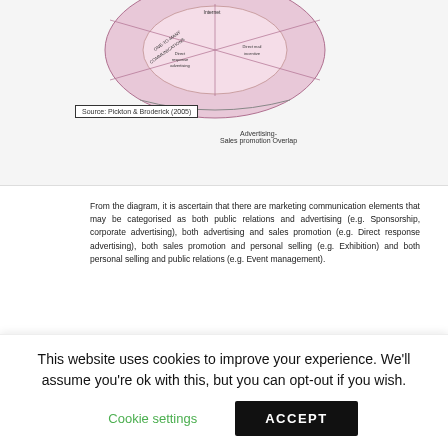[Figure (illustration): Partial view of a circular marketing communications diagram (Pickton & Broderick 2005) showing overlapping segments: Internet, Direct response advertising, Direct mail, One-to-many communications, Advertising/Sales promotion overlap label]
Source: Pickton & Broderick (2005)
Advertising
Sales promotion Overlap
From the diagram, it is ascertain that there are marketing communication elements that may be categorised as both public relations and advertising (e.g. Sponsorship, corporate advertising), both advertising and sales promotion (e.g. Direct response advertising), both sales promotion and personal selling (e.g. Exhibition) and both personal selling and public relations (e.g. Event management).
6
| Author: | Dugul Duzil |
| --- | --- |
This website uses cookies to improve your experience. We'll assume you're ok with this, but you can opt-out if you wish.
Cookie settings   ACCEPT